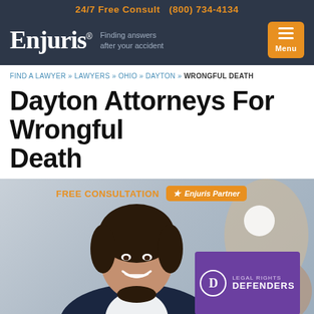24/7 Free Consult  (800) 734-4134
[Figure (logo): Enjuris logo with tagline 'Finding answers after your accident' and orange menu button]
FIND A LAWYER » LAWYERS » OHIO » DAYTON » WRONGFUL DEATH
Dayton Attorneys For Wrongful Death
[Figure (photo): Photo of a smiling female attorney in a dark blazer, with FREE CONSULTATION label in orange, Enjuris Partner badge, and Legal Rights Defenders law firm card overlay]